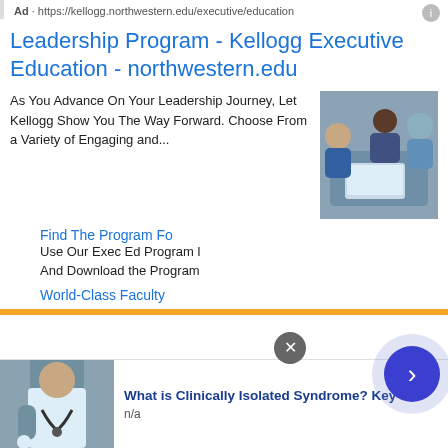Ad · https://kellogg.northwestern.edu/executive/education
Leadership Program - Kellogg Executive Education - northwestern.edu
As You Advance On Your Leadership Journey, Let Kellogg Show You The Way Forward. Choose From a Variety of Engaging and...
[Figure (photo): Group of business professionals looking at a laptop together]
Find The Program Fo
Use Our Exec Ed Program l And Download the Program
World-Class Faculty
This site uses cookies and other similar technologies to provide site functionality, analyze traffic and usage, and
[Figure (photo): Doctor in white coat with stethoscope]
What is Clinically Isolated Syndrome? Key
n/a